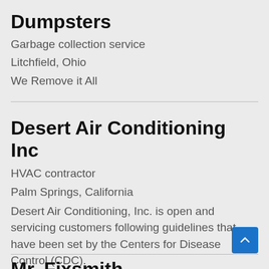Dumpsters
Garbage collection service
Litchfield, Ohio
We Remove it All
Desert Air Conditioning Inc
HVAC contractor
Palm Springs, California
Desert Air Conditioning, Inc. is open and servicing customers following guidelines that have been set by the Centers for Disease Control (CDC).
Mr. Fixsmith